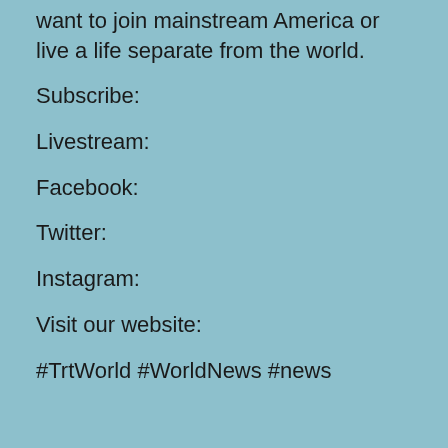want to join mainstream America or live a life separate from the world.
Subscribe:
Livestream:
Facebook:
Twitter:
Instagram:
Visit our website:
#TrtWorld #WorldNews #news